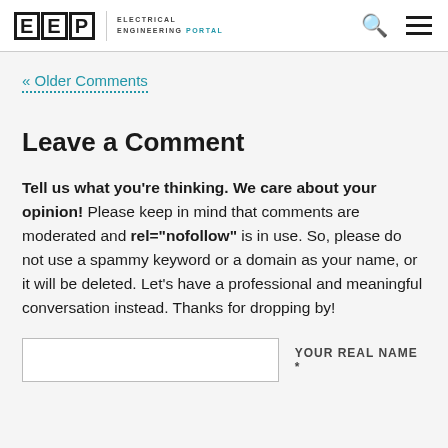EEP | Electrical Engineering Portal
« Older Comments
Leave a Comment
Tell us what you're thinking. We care about your opinion! Please keep in mind that comments are moderated and rel="nofollow" is in use. So, please do not use a spammy keyword or a domain as your name, or it will be deleted. Let's have a professional and meaningful conversation instead. Thanks for dropping by!
YOUR REAL NAME *